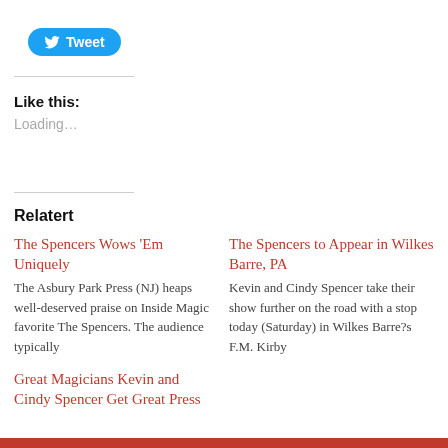[Figure (other): Twitter Tweet button with bird icon]
Like this:
Loading...
Relatert
The Spencers Wows ‘Em Uniquely
The Asbury Park Press (NJ) heaps well-deserved praise on Inside Magic favorite The Spencers. The audience typically
The Spencers to Appear in Wilkes Barre, PA
Kevin and Cindy Spencer take their show further on the road with a stop today (Saturday) in Wilkes Barre?s F.M. Kirby
Great Magicians Kevin and Cindy Spencer Get Great Press